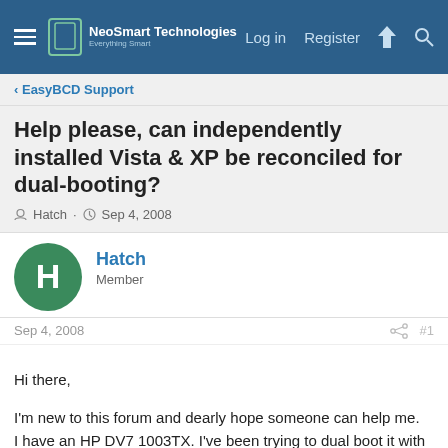NeoSmart Technologies — Log in  Register
< EasyBCD Support
Help please, can independently installed Vista & XP be reconciled for dual-booting?
Hatch · Sep 4, 2008
Hatch
Member
Sep 4, 2008  #1
Hi there,

I'm new to this forum and dearly hope someone can help me. I have an HP DV7 1003TX. I've been trying to dual boot it with XP for 2 months since purchase.

I have no Vista install disks otherwise I would do it XP first then Vista. I also have no success installing XP after Vista. I've slip